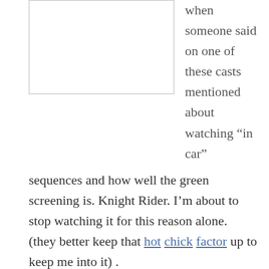[Figure (other): Empty white box with border, likely a placeholder for an image]
Another recent quality is when someone said on one of these casts mentioned about watching “in car” sequences and how well the green screening is. Knight Rider. I’m about to stop watching it for this reason alone. (they better keep that hot chick factor up to keep me into it) .
Share this:
Email Facebook Twitter Google Pocket Reddit